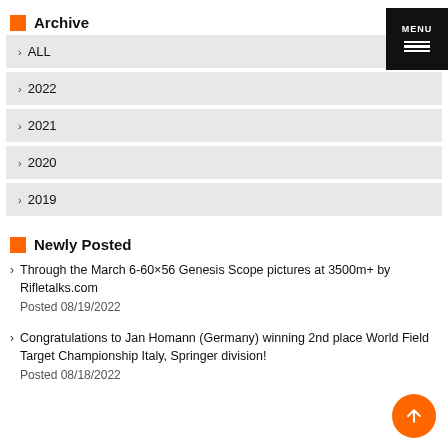MENU
Archive
ALL
2022
2021
2020
2019
Newly Posted
Through the March 6-60×56 Genesis Scope pictures at 3500m+ by Rifletalks.com
Posted 08/19/2022
Congratulations to Jan Homann (Germany) winning 2nd place World Field Target Championship Italy, Springer division!
Posted 08/18/2022